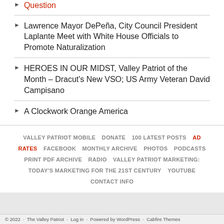Question
Lawrence Mayor DePeña, City Council President Laplante Meet with White House Officials to Promote Naturalization
HEROES IN OUR MIDST, Valley Patriot of the Month – Dracut's New VSO; US Army Veteran David Campisano
A Clockwork Orange America
VALLEY PATRIOT MOBILE   DONATE   100 LATEST POSTS   AD RATES   FACEBOOK   MONTHLY ARCHIVE   PHOTOS   PODCASTS   PRINT PDF ARCHIVE   RADIO   VALLEY PATRIOT MARKETING: TODAY'S MARKETING FOR THE 21ST CENTURY   YOUTUBE   CONTACT INFO
© 2022 · The Valley Patriot · Log in · Powered by WordPress · Cabfire Themes